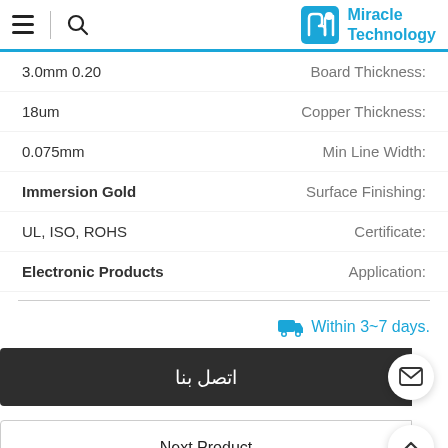Miracle Technology — navigation bar with hamburger menu, search icon, and logo
| Value | Property |
| --- | --- |
| 3.0mm 0.20 | Board Thickness: |
| 18um | Copper Thickness: |
| 0.075mm | Min Line Width: |
| Immersion Gold | Surface Finishing: |
| UL, ISO, ROHS | Certificate: |
| Electronic Products | Application: |
Within 3~7 days 🚚
اتصل بنا
Next Product